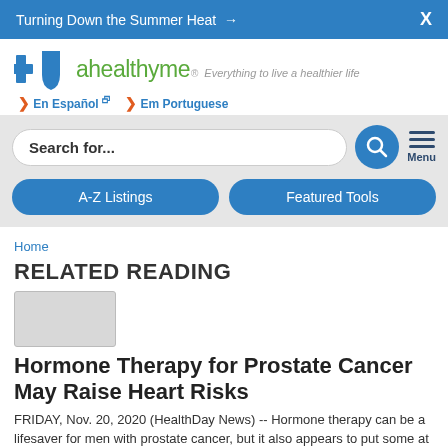Turning Down the Summer Heat →  X
[Figure (logo): Blue Cross Blue Shield plus ahealthyme logo with tagline 'Everything to live a healthier life' and language links En Español and Em Portuguese]
Search for...  A-Z Listings  Featured Tools
Home
RELATED READING
[Figure (photo): Thumbnail image placeholder]
Hormone Therapy for Prostate Cancer May Raise Heart Risks
FRIDAY, Nov. 20, 2020 (HealthDay News) -- Hormone therapy can be a lifesaver for men with prostate cancer, but it also appears to put some at increased risk of heart problems, a new study reports.